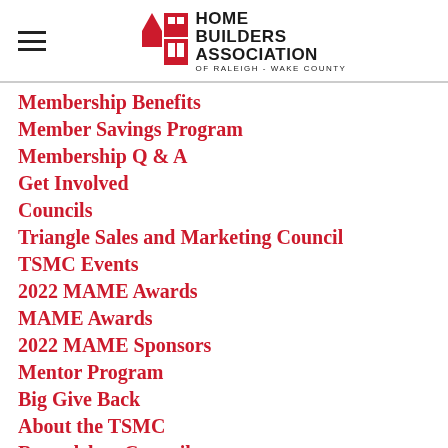[Figure (logo): Home Builders Association of Raleigh - Wake County logo with red house icon and bold black text]
Membership Benefits
Member Savings Program
Membership Q & A
Get Involved
Councils
Triangle Sales and Marketing Council
TSMC Events
2022 MAME Awards
MAME Awards
2022 MAME Sponsors
Mentor Program
Big Give Back
About the TSMC
Remodelers Council
Council Membership